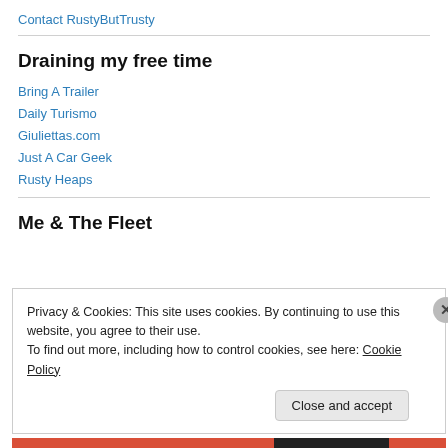Contact RustyButTrusty
Draining my free time
Bring A Trailer
Daily Turismo
Giuliettas.com
Just A Car Geek
Rusty Heaps
Me & The Fleet
Privacy & Cookies: This site uses cookies. By continuing to use this website, you agree to their use.
To find out more, including how to control cookies, see here: Cookie Policy
Close and accept